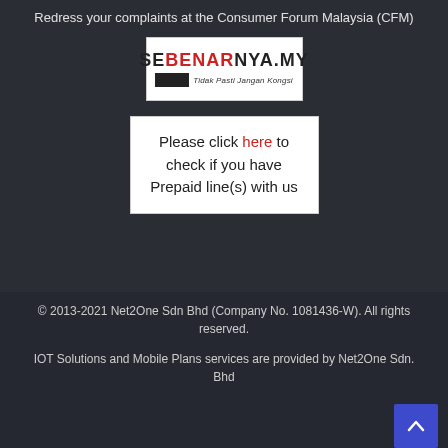Redress your complaints at the Consumer Forum Malaysia (CFM)
[Figure (logo): SEBENARNYA.MY logo with tagline 'Tidak Pasti Jangan Kongsi' and black rectangle]
Please click here to check if you have Prepaid line(s) with us
© 2013-2021 Net2One Sdn Bhd (Company No. 1081436-W). All rights reserved.
IOT Solutions and Mobile Plans services are provided by Net2One Sdn. Bhd